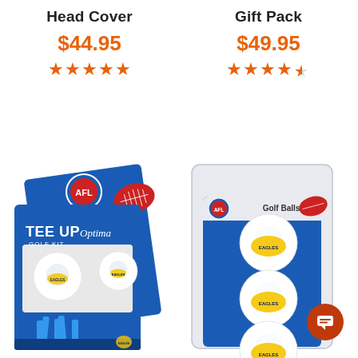Head Cover
$44.95
[Figure (other): 5 orange star rating icons (full stars)]
[Figure (photo): AFL Tee Up Golf Kit by Optima in blue packaging, with West Coast Eagles golf balls and blue tees]
Gift Pack
$49.95
[Figure (other): 4.5 orange star rating icons]
[Figure (photo): AFL Golf Balls gift pack in blue/white blister packaging, showing 3 West Coast Eagles branded golf balls]